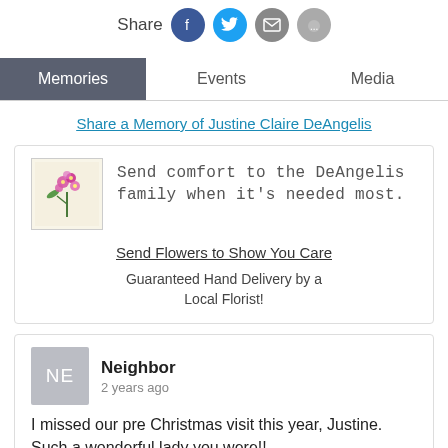[Figure (other): Share bar with social media icons: Facebook (blue), Twitter (light blue), Email (grey), and another grey icon]
Memories | Events | Media (tab navigation, Memories active)
Share a Memory of Justine Claire DeAngelis
[Figure (photo): Flower bouquet image for sending comfort to the DeAngelis family]
Send comfort to the DeAngelis family when it's needed most.
Send Flowers to Show You Care
Guaranteed Hand Delivery by a Local Florist!
Neighbor
2 years ago
I missed our pre Christmas visit this year, Justine. Such a wonderful lady you were!!